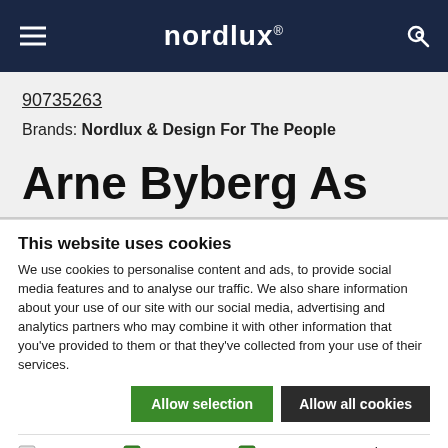nordlux®
90735263
Brands: Nordlux & Design For The People
Arne Byberg As
This website uses cookies
We use cookies to personalise content and ads, to provide social media features and to analyse our traffic. We also share information about your use of our site with our social media, advertising and analytics partners who may combine it with other information that you've provided to them or that they've collected from your use of their services.
Allow selection  Allow all cookies
Necessary  Preferences  Statistics  Marketing  Show details